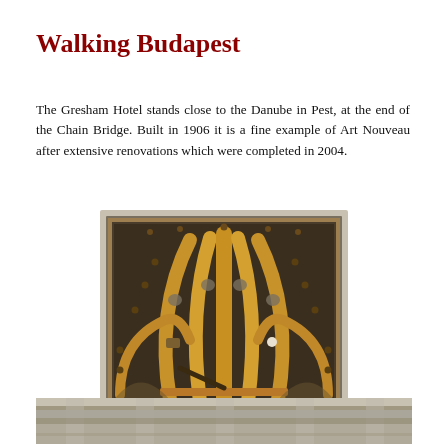Walking Budapest
The Gresham Hotel stands close to the Danube in Pest, at the end of the Chain Bridge. Built in 1906 it is a fine example of Art Nouveau after extensive renovations which were completed in 2004.
[Figure (photo): Ornate bronze art nouveau lift floor indicator panel with fan-shaped decorative metalwork in the Gresham Hotel, Budapest. Golden/copper colored arched metal strips arranged in a fan pattern on a dark background, framed in metal.]
Lift floor indicator in the Gresham.
[Figure (photo): Partial view of the exterior facade of a building, showing ornate stonework and architectural details at the top of the frame.]